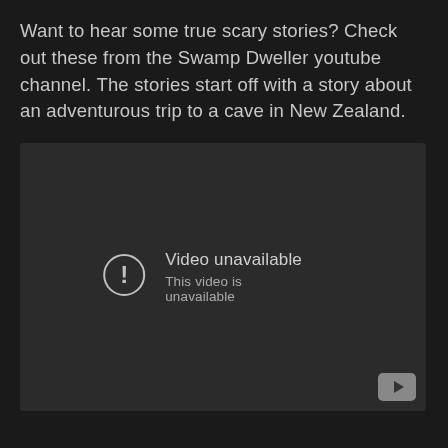Want to hear some true scary stories? Check out these from the Swamp Dweller youtube channel. The stories start off with a story about an adventurous trip to a cave in New Zealand.
[Figure (screenshot): An embedded YouTube video player showing a 'Video unavailable' error message with the text 'This video is unavailable' and a YouTube logo button in the bottom right corner. The player background is dark gray.]